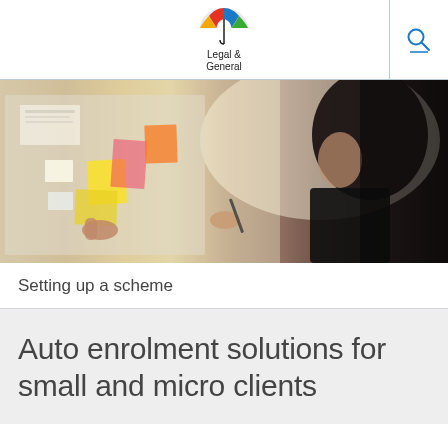[Figure (logo): Legal & General logo with multicoloured umbrella icon above the text 'Legal & General']
[Figure (photo): A woman with natural curly hair holding a pen and pointing at sticky notes and papers on a wall/board, in a brightly lit office setting. Another person's hand visible on the left.]
Setting up a scheme
Auto enrolment solutions for small and micro clients